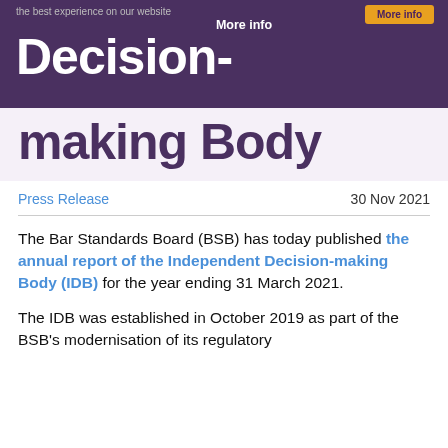the best experience on our website   More info   Decision-
making Body
Press Release
30 Nov 2021
The Bar Standards Board (BSB) has today published the annual report of the Independent Decision-making Body (IDB) for the year ending 31 March 2021.
The IDB was established in October 2019 as part of the BSB's modernisation of its regulatory...